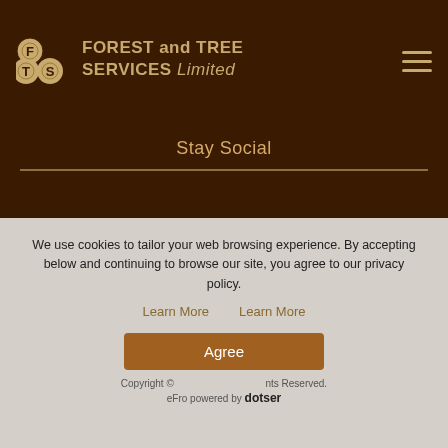[Figure (logo): Forest and Tree Services Limited logo with three log circles bearing F, T, S letters and golden text]
Stay Social
[Figure (logo): Large Forest and Tree Services Limited logo with logs icon and golden text]
[Figure (logo): Facebook icon - white F on rounded square]
We use cookies to tailor your web browsing experience. By accepting below and continuing to browse our site, you agree to our privacy policy.
Learn More   Learn More
Agree
Copyright © ... All Rights Reserved.
eFro powered by Dotser